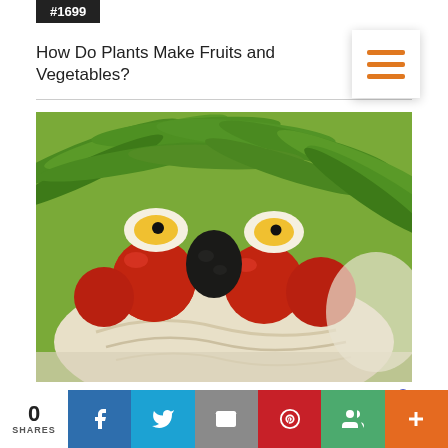#1699
How Do Plants Make Fruits and Vegetables?
[Figure (photo): A creative food art face made from vegetables: green bean pods arranged as hair, cherry tomatoes as cheeks/nose area, halved hard-boiled eggs with olive pupils as eyes, a dark avocado piece as nose, and hummus as a white beard on a green background. Badge #1774 in bottom-left corner.]
Does Food Evolve?
0 SHARES | Facebook | Twitter | Email | Pinterest | Google+ | More